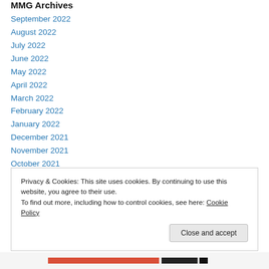MMG Archives
September 2022
August 2022
July 2022
June 2022
May 2022
April 2022
March 2022
February 2022
January 2022
December 2021
November 2021
October 2021
Privacy & Cookies: This site uses cookies. By continuing to use this website, you agree to their use.
To find out more, including how to control cookies, see here: Cookie Policy
Close and accept